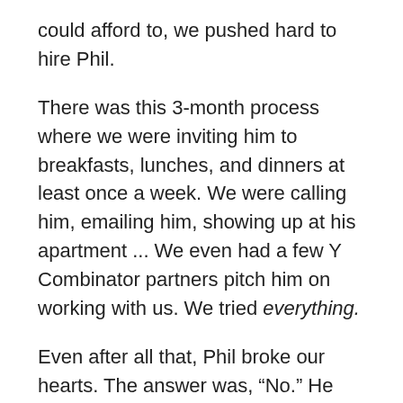could afford to, we pushed hard to hire Phil.
There was this 3-month process where we were inviting him to breakfasts, lunches, and dinners at least once a week. We were calling him, emailing him, showing up at his apartment ... We even had a few Y Combinator partners pitch him on working with us. We tried everything.
Even after all that, Phil broke our hearts. The answer was, “No.” He wasn’t ready to leave the startup he was working with.
But what happened next is critical: When most people are rejected after this level of investment, they cut ties and give up. We refused to do that